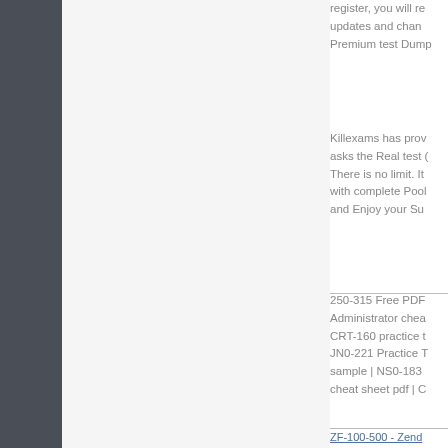register, you will re updates and chan Premium test Dump
Killexams has prov asks the Real test There is no limit. It with complete Pool and Enjoy your Su
250-315 Free PDF Administrator chea CRT-160 practice t JN0-221 Practice T sample | NS0-183 cheat sheet pdf | C
ZF-100-500 - Zend
ZF-100-500 - Zend
ZF-100-500 - Zend
ZF-100-500 - Zend
ZF-100-500 - Zend
ZF-100-500 - Zend
ZF-100-500 - Zend
ZF-100-500 - Zend